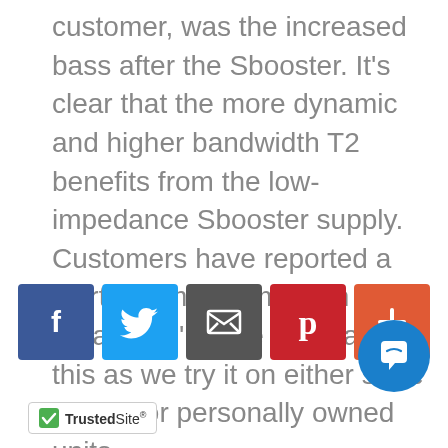customer, was the increased bass after the Sbooster. It's clear that the more dynamic and higher bandwidth T2 benefits from the low-impedance Sbooster supply. Customers have reported a startling improvement in all areas. We'll write more about this as we try it on either store demos or personally owned units.
[Figure (infographic): Social sharing buttons: Facebook, Twitter, Email, Pinterest, and a Plus button]
[Figure (infographic): Chat button - circular blue button with chat icon]
[Figure (logo): TrustedSite badge with green checkmark logo]